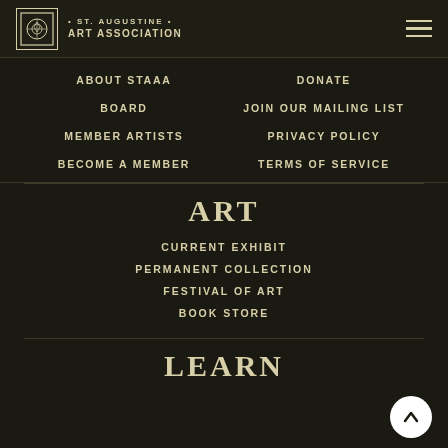ST. AUGUSTINE • ART ASSOCIATION
ABOUT STAAA
DONATE
BOARD
JOIN OUR MAILING LIST
MEMBER ARTISTS
PRIVACY POLICY
BECOME A MEMBER
TERMS OF SERVICE
ART
CURRENT EXHIBIT
PERMANENT COLLECTION
FESTIVAL OF ART
BOOK STORE
LEARN